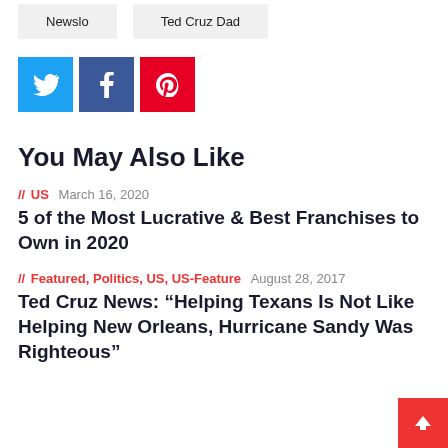Newslo
Ted Cruz Dad
[Figure (infographic): Social share buttons: Twitter (blue), Facebook (dark blue), Pinterest (red)]
You May Also Like
// US   March 16, 2020
5 of the Most Lucrative & Best Franchises to Own in 2020
// Featured, Politics, US, US-Feature   August 28, 2017
Ted Cruz News: “Helping Texans Is Not Like Helping New Orleans, Hurricane Sandy Was Righteous”